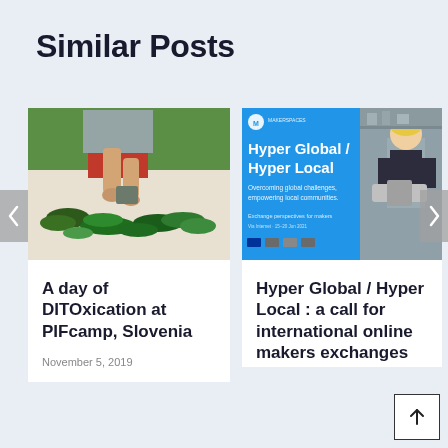Similar Posts
[Figure (photo): Person arranging fresh herbs on a white surface outdoors with green grass in background]
A day of DITOxication at PIFcamp, Slovenia
November 5, 2019
[Figure (photo): Hyper Global / Hyper Local event poster with blue background and text, alongside photo of a boy using a power tool]
Hyper Global / Hyper Local : a call for international online makers exchanges